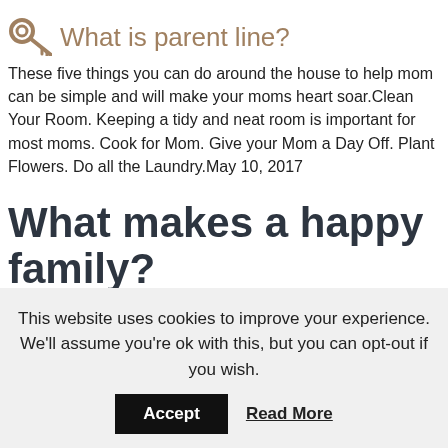What is parent line?
These five things you can do around the house to help mom can be simple and will make your moms heart soar.Clean Your Room. Keeping a tidy and neat room is important for most moms. Cook for Mom. Give your Mom a Day Off. Plant Flowers. Do all the Laundry.May 10, 2017
What makes a happy family?
A happy family is a family who spend time together, love and understand each other and get on well together. Its no good if you and your family dont get on. If this is the case then you must try and bond, getting to love
This website uses cookies to improve your experience. We'll assume you're ok with this, but you can opt-out if you wish.